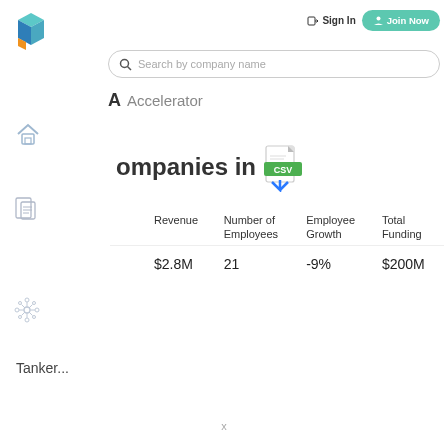[Figure (logo): Blue and teal 3D cube logo with orange accent]
Sign In   Join Now
[Figure (screenshot): Search bar with placeholder: Search by company name]
A  Accelerator
[Figure (logo): Home icon (sidebar)]
ompanies in
[Figure (other): CSV download icon with blue arrow]
[Figure (logo): Document/list icon (sidebar)]
|  | Revenue | Number of Employees | Employee Growth | Total Funding |
| --- | --- | --- | --- | --- |
|  | $2.8M | 21 | -9% | $200M |
[Figure (other): Snowflake/network icon (sidebar)]
Tanker...